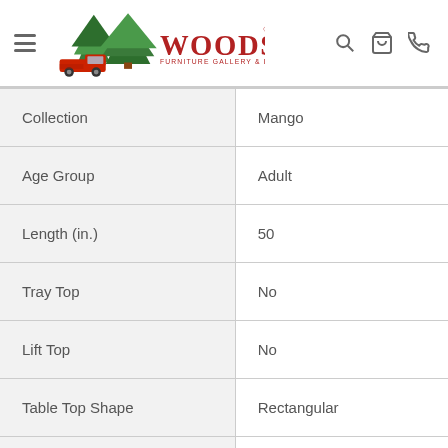Woods Furniture Gallery & Design
| Attribute | Value |
| --- | --- |
| Collection | Mango |
| Age Group | Adult |
| Length (in.) | 50 |
| Tray Top | No |
| Lift Top | No |
| Table Top Shape | Rectangular |
| Wood Finish | ... |